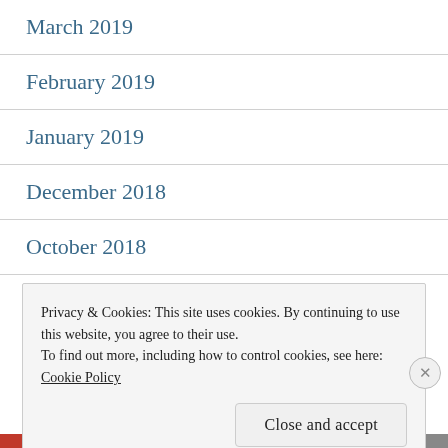March 2019
February 2019
January 2019
December 2018
October 2018
September 2018
Privacy & Cookies: This site uses cookies. By continuing to use this website, you agree to their use.
To find out more, including how to control cookies, see here:
Cookie Policy
Close and accept